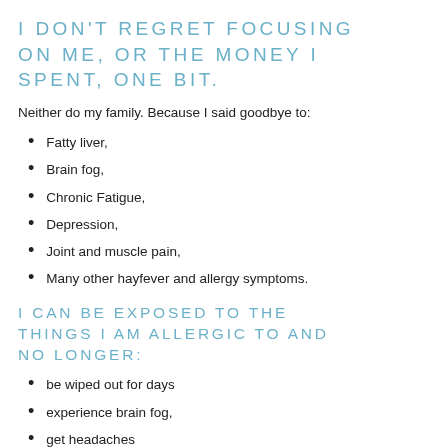I DON'T REGRET FOCUSING ON ME, OR THE MONEY I SPENT, ONE BIT.
Neither do my family. Because I said goodbye to:
Fatty liver,
Brain fog,
Chronic Fatigue,
Depression,
Joint and muscle pain,
Many other hayfever and allergy symptoms.
I CAN BE EXPOSED TO THE THINGS I AM ALLERGIC TO AND NO LONGER:
be wiped out for days
experience brain fog,
get headaches